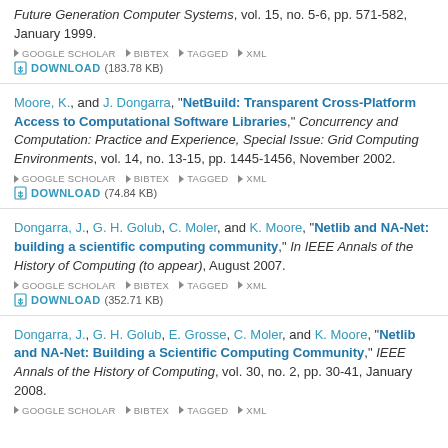Future Generation Computer Systems, vol. 15, no. 5-6, pp. 571-582, January 1999. GOOGLE SCHOLAR BIBTEX TAGGED XML DOWNLOAD (183.78 KB)
Moore, K., and J. Dongarra, "NetBuild: Transparent Cross-Platform Access to Computational Software Libraries," Concurrency and Computation: Practice and Experience, Special Issue: Grid Computing Environments, vol. 14, no. 13-15, pp. 1445-1456, November 2002. GOOGLE SCHOLAR BIBTEX TAGGED XML DOWNLOAD (74.84 KB)
Dongarra, J., G. H. Golub, C. Moler, and K. Moore, "Netlib and NA-Net: building a scientific computing community," In IEEE Annals of the History of Computing (to appear), August 2007. GOOGLE SCHOLAR BIBTEX TAGGED XML DOWNLOAD (352.71 KB)
Dongarra, J., G. H. Golub, E. Grosse, C. Moler, and K. Moore, "Netlib and NA-Net: Building a Scientific Computing Community," IEEE Annals of the History of Computing, vol. 30, no. 2, pp. 30-41, January 2008. GOOGLE SCHOLAR BIBTEX TAGGED XML